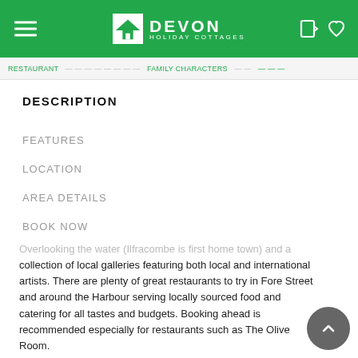Devon Holiday Cottages
DESCRIPTION
FEATURES
LOCATION
AREA DETAILS
BOOK NOW
Overlooking the water (Ilfracombe is first home town) and a collection of local galleries featuring both local and international artists. There are plenty of great restaurants to try in Fore Street and around the Harbour serving locally sourced food and catering for all tastes and budgets. Booking ahead is recommended especially for restaurants such as The Olive Room.